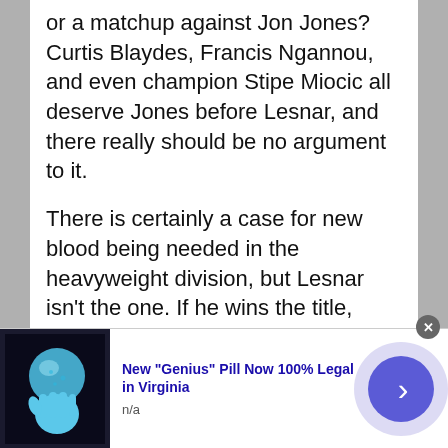or a matchup against Jon Jones? Curtis Blaydes, Francis Ngannou, and even champion Stipe Miocic all deserve Jones before Lesnar, and there really should be no argument to it.
There is certainly a case for new blood being needed in the heavyweight division, but Lesnar isn't the one. If he wins the title, what will he do when Vince McMahon comes calling for his return to WWE? The top of the heavyweight division was already put on hold over the last three years due to the trilogy between Miocic and former
[Figure (photo): Advertisement banner at bottom of page showing a blue gloved hand holding a blue spherical object against a dark background. Ad headline reads: New "Genius" Pill Now 100% Legal in Virginia. Source: n/a]